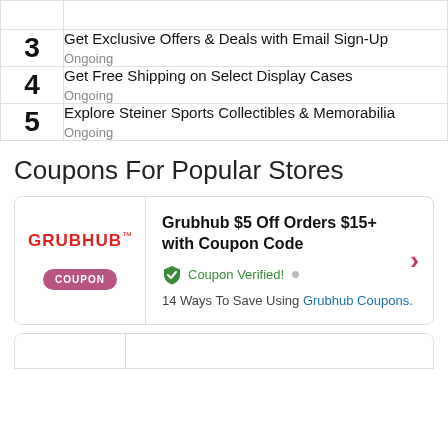| # | Deal | Status |
| --- | --- | --- |
| 3 | Get Exclusive Offers & Deals with Email Sign-Up | Ongoing |
| 4 | Get Free Shipping on Select Display Cases | Ongoing |
| 5 | Explore Steiner Sports Collectibles & Memorabilia | Ongoing |
Coupons For Popular Stores
Grubhub $5 Off Orders $15+ with Coupon Code — Coupon Verified! — 14 Ways To Save Using Grubhub Coupons.